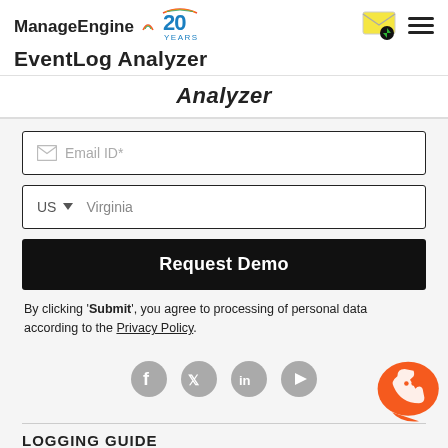ManageEngine EventLog Analyzer
Analyzer
[Figure (screenshot): Email ID input field with envelope icon placeholder]
[Figure (screenshot): Phone/location field with US country code and Virginia placeholder]
Request Demo
By clicking 'Submit', you agree to processing of personal data according to the Privacy Policy.
[Figure (other): Social media icons: Facebook, Twitter, LinkedIn, YouTube]
[Figure (other): Orange chat/phone support bubble icon]
LOGGING GUIDE